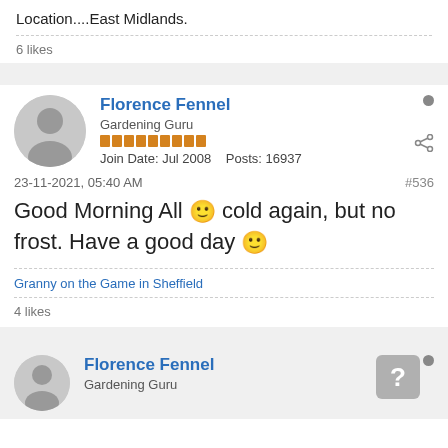Location....East Midlands.
6 likes
Florence Fennel
Gardening Guru
Join Date: Jul 2008   Posts: 16937
23-11-2021, 05:40 AM
#536
Good Morning All 🙂 cold again, but no frost. Have a good day 🙂
Granny on the Game in Sheffield
4 likes
Florence Fennel
Gardening Guru